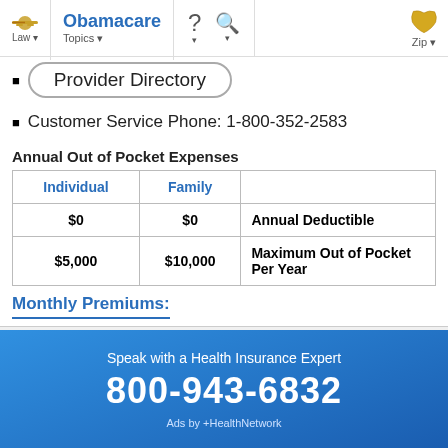Law | Obamacare Topics | ? | Search | Zip
Provider Directory
Customer Service Phone: 1-800-352-2583
Annual Out of Pocket Expenses
| Individual | Family |  |
| --- | --- | --- |
| $0 | $0 | Annual Deductible |
| $5,000 | $10,000 | Maximum Out of Pocket Per Year |
Monthly Premiums:
| Age | Individual | Individual
1 Child | Individual
2 Children | Individual
3+ Children | Child
0-14 |
| --- | --- | --- | --- | --- | --- |
Speak with a Health Insurance Expert
800-943-6832
Ads by +HealthNetwork